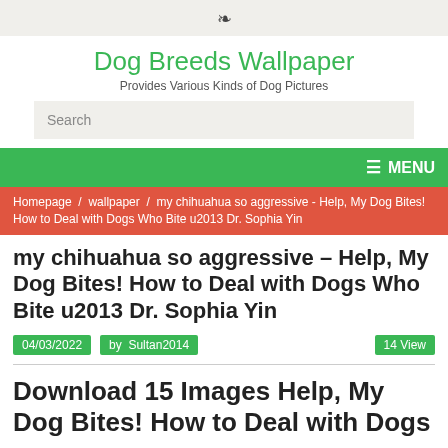RSS feed icon
Dog Breeds Wallpaper
Provides Various Kinds of Dog Pictures
Search
≡ MENU
Homepage / wallpaper / my chihuahua so aggressive - Help, My Dog Bites! How to Deal with Dogs Who Bite u2013 Dr. Sophia Yin
my chihuahua so aggressive – Help, My Dog Bites! How to Deal with Dogs Who Bite u2013 Dr. Sophia Yin
04/03/2022   by  Sultan2014   14 View
Download 15 Images Help, My Dog Bites! How to Deal with Dogs